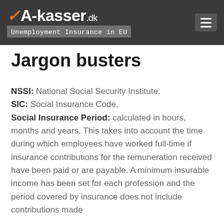A-kasser.dk — Unemployment Insurance in EU
Jargon busters
NSSI: National Social Security Institute. SIC: Social Insurance Code. Social Insurance Period: calculated in hours, months and years. This takes into account the time during which employees have worked full-time if insurance contributions for the remuneration received have been paid or are payable. A minimum insurable income has been set for each profession and the period covered by insurance does not include contributions made